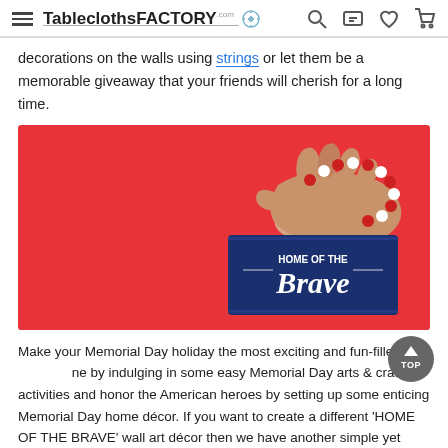Tablecloths FACTORY
decorations on the walls using strings or let them be a memorable giveaway that your friends will cherish for a long time.
[Figure (photo): A hand holding a navy blue wood sign that reads 'HOME OF THE Brave' with red, white and blue beaded string, against a bright red background.]
Make your Memorial Day holiday the most exciting and fun-filled one by indulging in some easy Memorial Day arts & crafts activities and honor the American heroes by setting up some enticing Memorial Day home décor. If you want to create a different 'HOME OF THE BRAVE' wall art décor then we have another simple yet super chic Memorial Day decor